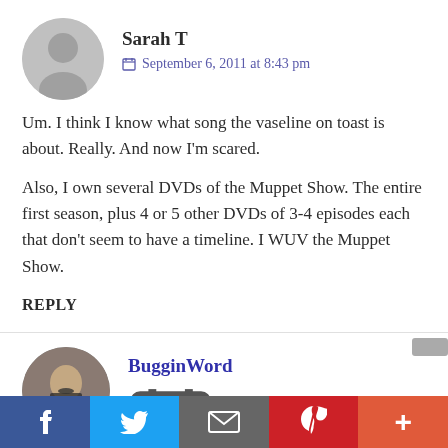Sarah T
September 6, 2011 at 8:43 pm
Um. I think I know what song the vaseline on toast is about. Really. And now I'm scared.
Also, I own several DVDs of the Muppet Show. The entire first season, plus 4 or 5 other DVDs of 3-4 episodes each that don't seem to have a timeline. I WUV the Muppet Show.
REPLY
BugginWord
September 7, 2011 at 9:28 am
[Figure (other): Social share bar with Facebook, Twitter, Email, Pinterest, and More buttons]